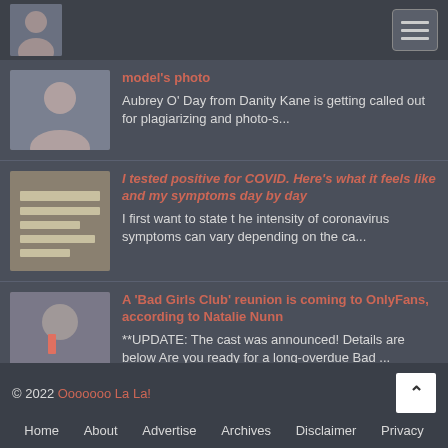Ooooooo La La! site header with avatar and hamburger menu
model's photo
Aubrey O' Day from Danity Kane is getting called out for plagiarizing and photo-s...
I tested positive for COVID. Here's what it feels like and my symptoms day by day
I first want to state t he intensity of coronavirus symptoms can vary depending on the ca...
A 'Bad Girls Club' reunion is coming to OnlyFans, according to Natalie Nunn
**UPDATE: The cast was announced! Details are below Are you ready for a long-overdue Bad ...
© 2022 Ooooooo La La! Home About Advertise Archives Disclaimer Privacy